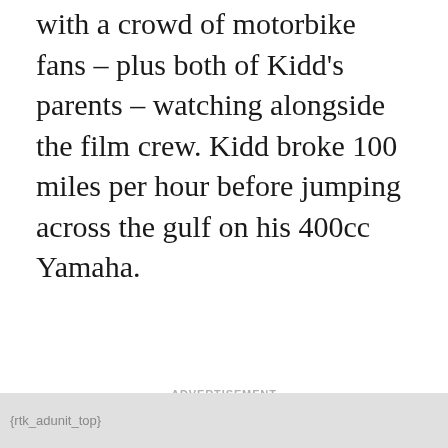with a crowd of motorbike fans – plus both of Kidd's parents – watching alongside the film crew. Kidd broke 100 miles per hour before jumping across the gulf on his 400cc Yamaha.
ADVERTISEMENT
{rtk_adunit_top}